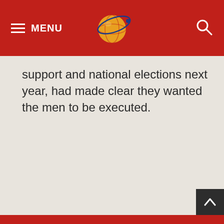MENU
support and national elections next year, had made clear they wanted the men to be executed.